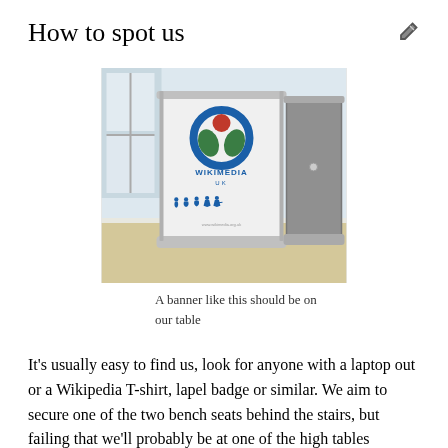How to spot us
[Figure (photo): Two roll-up banner stands on a table; the front one shows the Wikimedia UK logo with blue circular emblem, green leaves, red dot, the text WIKIMEDIA UK, and a row of evolution-of-man silhouettes in blue. The second banner is plain grey. The background is a bright room with a window.]
A banner like this should be on our table
It's usually easy to find us, look for anyone with a laptop out or a Wikipedia T-shirt, lapel badge or similar. We aim to secure one of the two bench seats behind the stairs, but failing that we'll probably be at one of the high tables between the stairs and the entrance. Bear in mind that we could be upstairs.